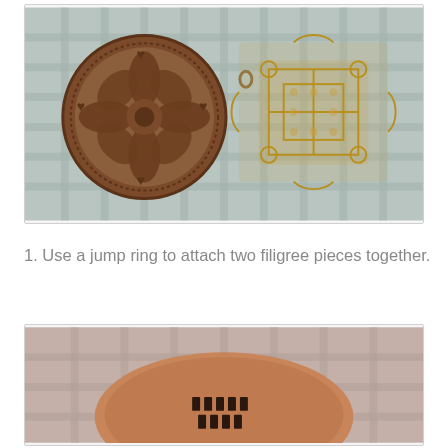[Figure (photo): Two ornate metal filigree jewelry pieces on a plaid fabric background. On the left is a round antique copper/bronze medallion with floral and heart patterns. On the right is a larger gold-toned square filigree piece with intricate scrollwork and openwork design. They appear to be connected by a small jump ring.]
1. Use a jump ring to attach two filigree pieces together.
[Figure (photo): Close-up photo of the back of a round copper/bronze filigree medallion resting on plaid fabric, showing small black metal rivets or attachments on its reverse side.]